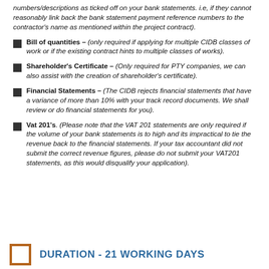numbers/descriptions as ticked off on your bank statements. i.e, if they cannot reasonably link back the bank statement payment reference numbers to the contractor's name as mentioned within the project contract).
Bill of quantities – (only required if applying for multiple CIDB classes of work or if the existing contract hints to multiple classes of works).
Shareholder's Certificate – (Only required for PTY companies, we can also assist with the creation of shareholder's certificate).
Financial Statements – (The CIDB rejects financial statements that have a variance of more than 10% with your track record documents. We shall review or do financial statements for you).
Vat 201's. (Please note that the VAT 201 statements are only required if the volume of your bank statements is to high and its impractical to tie the revenue back to the financial statements. If your tax accountant did not submit the correct revenue figures, please do not submit your VAT201 statements, as this would disqualify your application).
DURATION - 21 WORKING DAYS